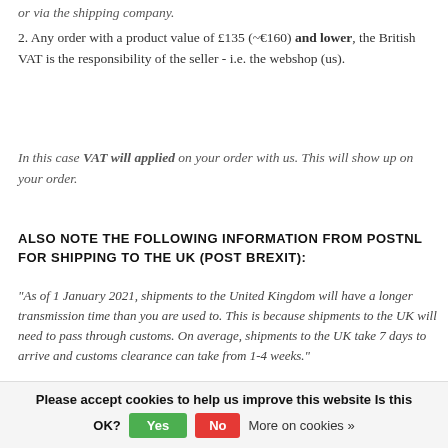or via the shipping company.
2. Any order with a product value of £135 (~€160) and lower, the British VAT is the responsibility of the seller - i.e. the webshop (us).
In this case VAT will applied on your order with us. This will show up on your order.
ALSO NOTE THE FOLLOWING INFORMATION FROM POSTNL FOR SHIPPING TO THE UK (POST BREXIT):
"As of 1 January 2021, shipments to the United Kingdom will have a longer transmission time than you are used to. This is because shipments to the UK will need to pass through customs. On average, shipments to the UK take 7 days to arrive and customs clearance can take from 1-4 weeks."
Please accept cookies to help us improve this website Is this OK? Yes No More on cookies »